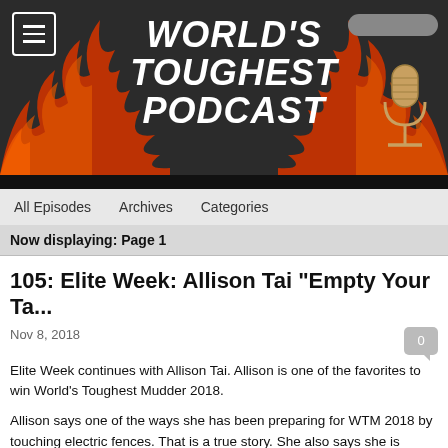[Figure (logo): World's Toughest Podcast banner with flames, microphone, and hamburger menu icon on dark background]
All Episodes   Archives   Categories
Now displaying: Page 1
105: Elite Week: Allison Tai "Empty Your Ta...
Nov 8, 2018
Elite Week continues with Allison Tai. Allison is one of the favorites to win World's Toughest Mudder 2018.
Allison says one of the ways she has been preparing for WTM 2018 by touching electric fences. That is a true story. She also says she is jealous of her friends running WTM for the first time who still have that fear of the race.
Be sure to follow Allison's progress at WTM this weekend on the World's Toughest Podcast Instagram account. Carlo Piscitello will be manning our